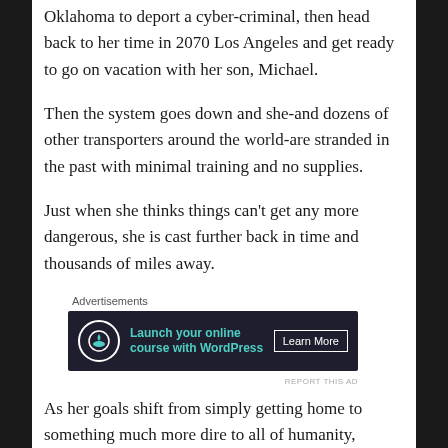Oklahoma to deport a cyber-criminal, then head back to her time in 2070 Los Angeles and get ready to go on vacation with her son, Michael.
Then the system goes down and she-and dozens of other transporters around the world-are stranded in the past with minimal training and no supplies.
Just when she thinks things can't get any more dangerous, she is cast further back in time and thousands of miles away.
Advertisements
[Figure (other): Advertisement banner: dark background with bonsai tree icon, teal text 'Launch your online course with WordPress', and 'Learn More' button]
REPORT THIS AD
As her goals shift from simply getting home to something much more dire to all of humanity, Christine must step outside of herself, work as part of a team, and ultimately make the choice